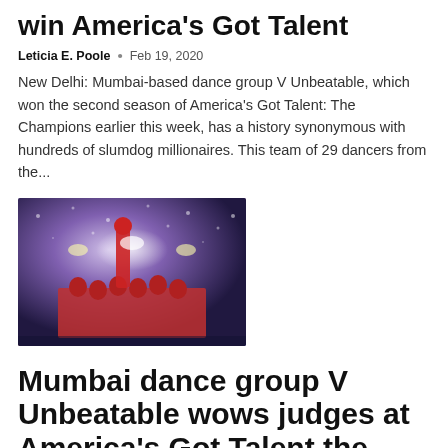win America's Got Talent
Leticia E. Poole  •  Feb 19, 2020
New Delhi: Mumbai-based dance group V Unbeatable, which won the second season of America's Got Talent: The Champions earlier this week, has a history synonymous with hundreds of slumdog millionaires. This team of 29 dancers from the...
[Figure (photo): V Unbeatable dance group performing on stage with red costumes, dramatic lighting and sparkly blue backdrop at America's Got Talent]
Mumbai dance group V Unbeatable wows judges at America's Got Talent the